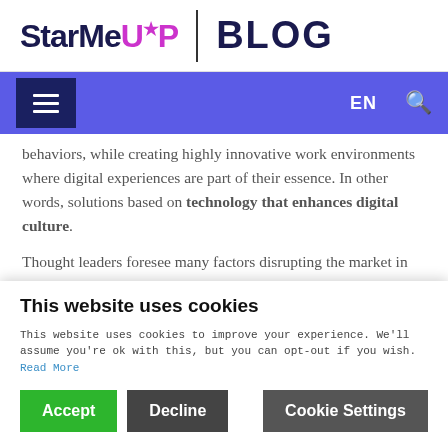[Figure (logo): StarMeUp Blog logo with stylized text. 'StarMe' in dark navy, 'UP' in magenta/pink with a star above the U, followed by a vertical divider and 'BLOG' in dark navy large letters.]
Navigation bar with hamburger menu icon, EN language selector, and search icon
behaviors, while creating highly innovative work environments where digital experiences are part of their essence. In other words, solutions based on technology that enhances digital culture.
Thought leaders foresee many factors disrupting the market in the coming years, making the ability to
This website uses cookies
This website uses cookies to improve your experience. We'll assume you're ok with this, but you can opt-out if you wish. Read More
Accept | Decline | Cookie Settings